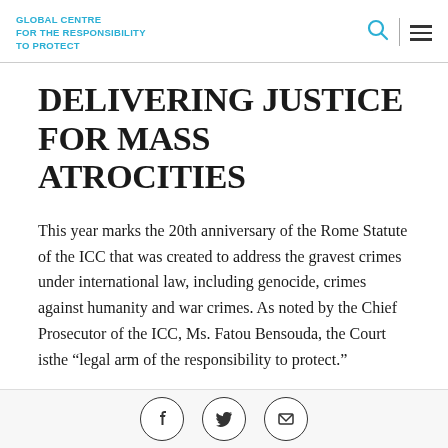GLOBAL CENTRE FOR THE RESPONSIBILITY TO PROTECT
DELIVERING JUSTICE FOR MASS ATROCITIES
This year marks the 20th anniversary of the Rome Statute of the ICC that was created to address the gravest crimes under international law, including genocide, crimes against humanity and war crimes. As noted by the Chief Prosecutor of the ICC, Ms. Fatou Bensouda, the Court isthe “legal arm of the responsibility to protect.”
During this session R2P Focal Points discussed
Social share icons: Facebook, Twitter, Email